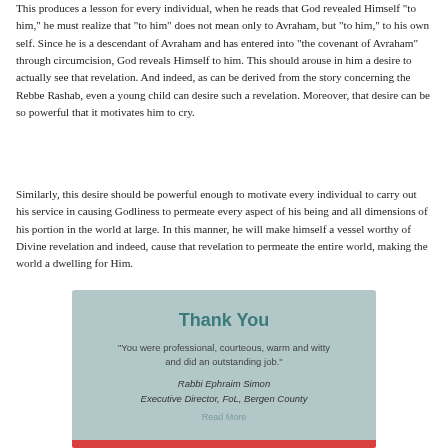This produces a lesson for every individual, when he reads that God revealed Himself "to him," he must realize that "to him" does not mean only to Avraham, but "to him," to his own self. Since he is a descendant of Avraham and has entered into "the covenant of Avraham" through circumcision, God reveals Himself to him. This should arouse in him a desire to actually see that revelation. And indeed, as can be derived from the story concerning the Rebbe Rashab, even a young child can desire such a revelation. Moreover, that desire can be so powerful that it motivates him to cry.
Similarly, this desire should be powerful enough to motivate every individual to carry out his service in causing Godliness to permeate every aspect of his being and all dimensions of his portion in the world at large. In this manner, he will make himself a vessel worthy of Divine revelation and indeed, cause that revelation to permeate the entire world, making the world a dwelling for Him.
[Figure (infographic): A testimonial box with teal/grey background containing 'Thank You' title in teal, a quote from Rabbi Ephraim Simon, Executive Director FoL Bergen County, and a 'Read More' link. Below is a partial red bar.]